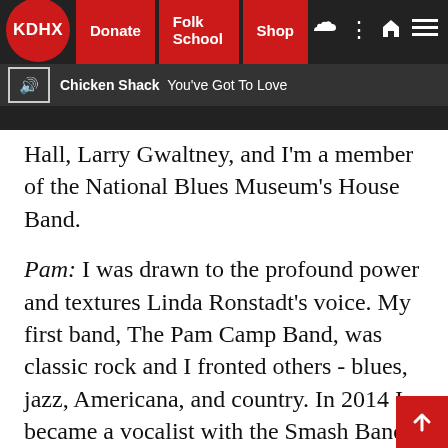KDHX | Donate | Folk School | Shop | Chicken Shack - You've Got To Love
Hall, Larry Gwaltney, and I’m a member of the National Blues Museum’s House Band.
Pam: I was drawn to the profound power and textures Linda Ronstadt’s voice. My first band, The Pam Camp Band, was classic rock and I fronted others - blues, jazz, Americana, and country. In 2014 I became a vocalist with the Smash Band. I have sung with Kingdom Brothers, Matt “Rattlesnack” Lesch, and other local artists as well as being a member of Songs of Africa Ensemble and singing in a duo with